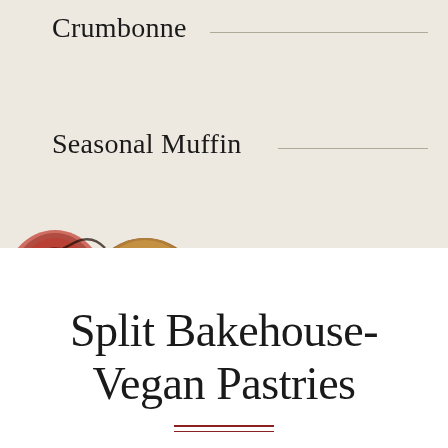Crumbonne
Seasonal Muffin
[Figure (photo): Photo of pastries on a light blue plate, including what appears to be a chocolate-drizzled pastry and a round bun, positioned in the lower left of the top section.]
Split Bakehouse-Vegan Pastries